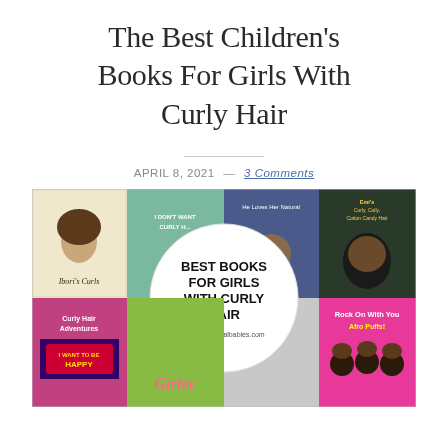The Best Children's Books For Girls With Curly Hair
APRIL 8, 2021 — 3 Comments
[Figure (photo): Collage of children's book covers for girls with curly hair, featuring titles such as Ibori's Curls, I Don't Want Curly Hair, He Loves Her Natural, Emi's Curly Coily Cotton Candy Hair, Curly Hair Adventures, I Want to Be Happy, Girlee, and Rock On With Your Afro Puffs. A white circle in the center reads BEST BOOKS FOR GIRLS WITH CURLY HAIR with Raisingbiracialbabies.com at the bottom.]